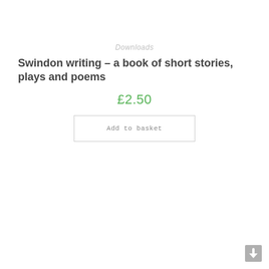Downloads
Swindon writing – a book of short stories, plays and poems
£2.50
Add to basket